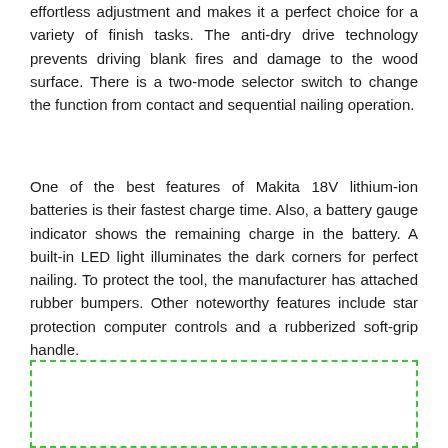effortless adjustment and makes it a perfect choice for a variety of finish tasks. The anti-dry drive technology prevents driving blank fires and damage to the wood surface. There is a two-mode selector switch to change the function from contact and sequential nailing operation.
One of the best features of Makita 18V lithium-ion batteries is their fastest charge time. Also, a battery gauge indicator shows the remaining charge in the battery. A built-in LED light illuminates the dark corners for perfect nailing. To protect the tool, the manufacturer has attached rubber bumpers. Other noteworthy features include star protection computer controls and a rubberized soft-grip handle.
[Figure (illustration): A green dashed border box containing a green circular thumbs-up icon in the center]